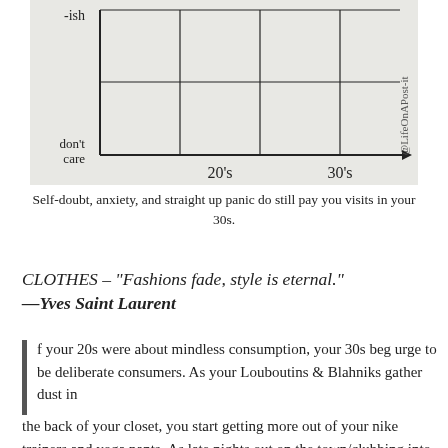[Figure (other): Hand-drawn chart showing y-axis labeled '-ish' at top and 'don't care' at bottom, x-axis with '20's' and '30's' labels, grid lines, and watermark '@LifeOnAPost-it' on right side.]
Self-doubt, anxiety, and straight up panic do still pay you visits in your 30s.
CLOTHES – "Fashions fade, style is eternal." —Yves Saint Laurent
If your 20s were about mindless consumption, your 30s beg urge to be deliberate consumers. As your Louboutins & Blahniks gather dust in the back of your closet, you start getting more out of your nike trainers and yoga pants. As late nights out on the town/clubbing into the wee